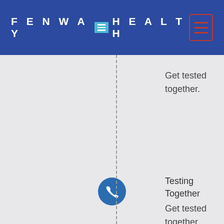FENWAY HEALTH
Get tested together.
[Figure (illustration): Blue circle icon with white phone/handset symbol]
Testing Together Get tested together.
[Figure (illustration): Blue circle icon with white clock symbol]
Testing Together Get tested together.